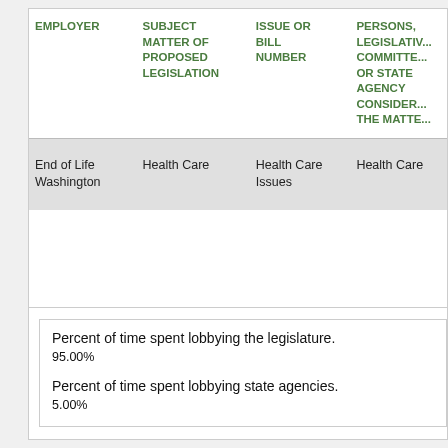| EMPLOYER | SUBJECT MATTER OF PROPOSED LEGISLATION | ISSUE OR BILL NUMBER | PERSONS, LEGISLATIVE COMMITTEE OR STATE AGENCY CONSIDERING THE MATTER |
| --- | --- | --- | --- |
| End of Life Washington | Health Care | Health Care Issues | Health Care |
Percent of time spent lobbying the legislature.
95.00%
Percent of time spent lobbying state agencies.
5.00%